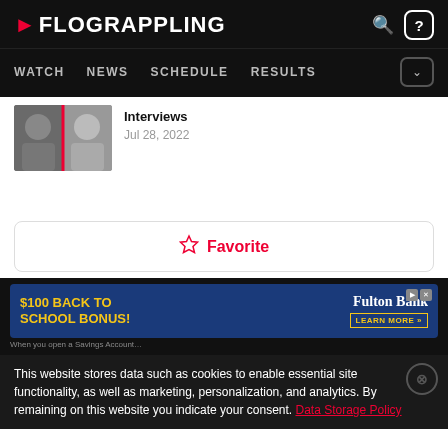FloGrappling — WATCH NEWS SCHEDULE RESULTS
[Figure (screenshot): Thumbnail image showing two athletes side by side with a red vertical dividing line]
Interviews
Jul 28, 2022
☆ Favorite
[Figure (photo): Advertisement banner: $100 BACK TO SCHOOL BONUS! — Fulton Bank LEARN MORE]
This website stores data such as cookies to enable essential site functionality, as well as marketing, personalization, and analytics. By remaining on this website you indicate your consent. Data Storage Policy